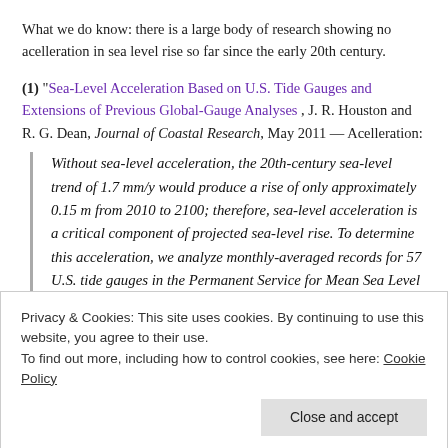What we do know: there is a large body of research showing no acelleration in sea level rise so far since the early 20th century.
(1) “Sea-Level Acceleration Based on U.S. Tide Gauges and Extensions of Previous Global-Gauge Analyses”, J. R. Houston and R. G. Dean, Journal of Coastal Research, May 2011 — Acelleration:
Without sea-level acceleration, the 20th-century sea-level trend of 1.7 mm/y would produce a rise of only approximately 0.15 m from 2010 to 2100; therefore, sea-level acceleration is a critical component of projected sea-level rise. To determine this acceleration, we analyze monthly-averaged records for 57 U.S. tide gauges in the Permanent Service for Mean Sea Level (PSMSL) data base that have lengths
Privacy & Cookies: This site uses cookies. By continuing to use this website, you agree to their use.
To find out more, including how to control cookies, see here: Cookie Policy
worldwide data, we extend the analysis of Douglas